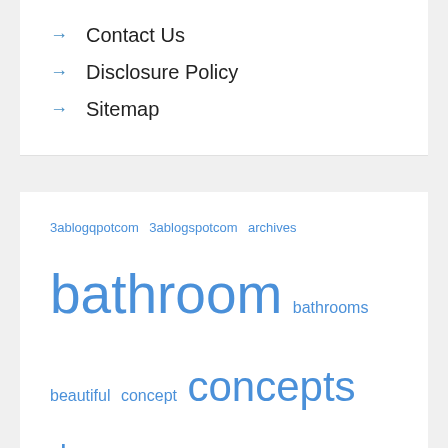→ Contact Us
→ Disclosure Policy
→ Sitemap
3ablogqpotcom 3ablogspotcom archives bathroom bathrooms beautiful concept concepts decor decorating design designer designs dwelling enchancment fashionable finest forty greatest guide house ideas improvement improvements information inside